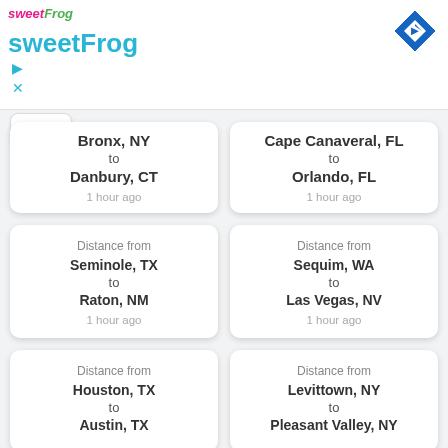sweetFrog (advertisement header)
Distance from Bronx, NY to Danbury, CT — 1 hour ago
Distance from Cape Canaveral, FL to Orlando, FL — 1 hour ago
Distance from Seminole, TX to Raton, NM — 1 hour ago
Distance from Sequim, WA to Las Vegas, NV — 1 hour ago
Distance from Houston, TX to Austin, TX
Distance from Levittown, NY to Pleasant Valley, NY